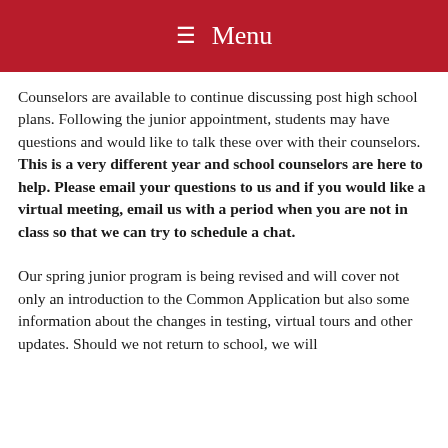Menu
Counselors are available to continue discussing post high school plans. Following the junior appointment, students may have questions and would like to talk these over with their counselors. This is a very different year and school counselors are here to help. Please email your questions to us and if you would like a virtual meeting, email us with a period when you are not in class so that we can try to schedule a chat.
Our spring junior program is being revised and will cover not only an introduction to the Common Application but also some information about the changes in testing, virtual tours and other updates. Should we not return to school, we will